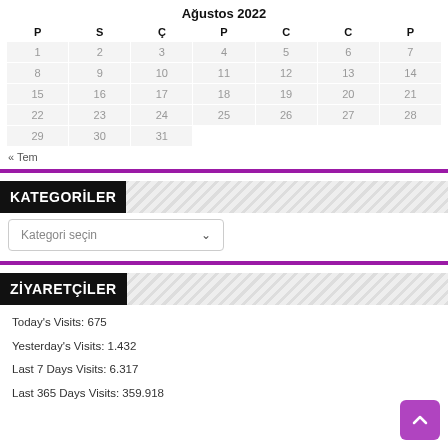Ağustos 2022
| P | S | Ç | P | C | C | P |
| --- | --- | --- | --- | --- | --- | --- |
| 1 | 2 | 3 | 4 | 5 | 6 | 7 |
| 8 | 9 | 10 | 11 | 12 | 13 | 14 |
| 15 | 16 | 17 | 18 | 19 | 20 | 21 |
| 22 | 23 | 24 | 25 | 26 | 27 | 28 |
| 29 | 30 | 31 |  |  |  |  |
« Tem
KATEGORİLER
Kategori seçin
ZİYARETÇİLER
Today's Visits: 675
Yesterday's Visits: 1.432
Last 7 Days Visits: 6.317
Last 365 Days Visits: 359.918